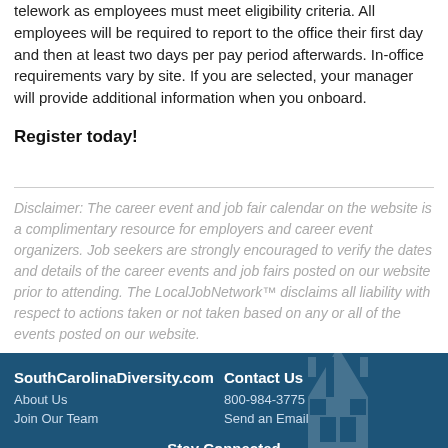telework as employees must meet eligibility criteria. All employees will be required to report to the office their first day and then at least two days per pay period afterwards. In-office requirements vary by site. If you are selected, your manager will provide additional information when you onboard.
Register today!
Disclaimer: The career event and job fair calendar on the website is a complimentary resource for employers and career event organizers. Job seekers are strongly encouraged to verify the dates and details of the career events and job fairs posted on our website prior to attending. The LocalJobNetwork™ disclaims all liability with respect to actions taken or not taken based on any or all of the events posted on our website.
SouthCarolinaDiversity.com | About Us | Join Our Team | Contact Us | 800-984-3775 | Send an Email | Stay Connected